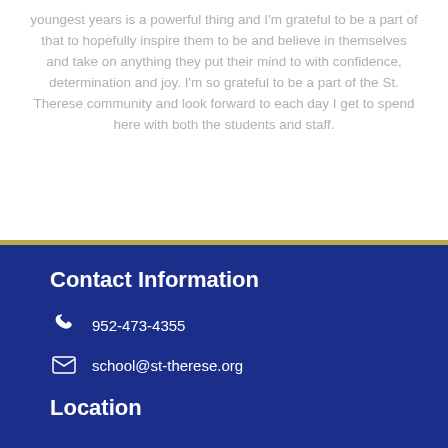youngest years is a powerful thing and I'm grateful to be a part of that to hopefully inspire them to be and believe in themselves and take on anything they put their mind to with confidence, determination and joy. I'm so grateful to be a part of the St. Therese community and look forward to each day I get to spend here with both the students and staff.
Contact Information
952-473-4355
school@st-therese.org
Location